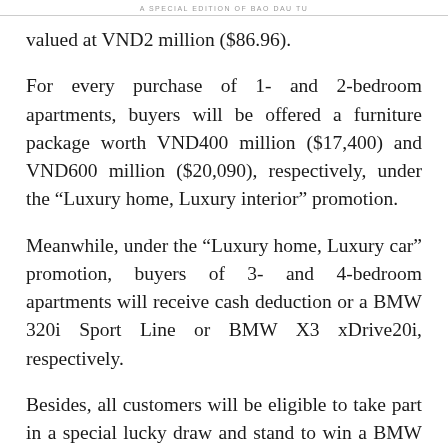A SPECIAL EDITION OF BAO DAU TU
valued at VND2 million ($86.96).
For every purchase of 1- and 2-bedroom apartments, buyers will be offered a furniture package worth VND400 million ($17,400) and VND600 million ($20,090), respectively, under the “Luxury home, Luxury interior” promotion.
Meanwhile, under the “Luxury home, Luxury car” promotion, buyers of 3- and 4-bedroom apartments will receive cash deduction or a BMW 320i Sport Line or BMW X3 xDrive20i, respectively.
Besides, all customers will be eligible to take part in a special lucky draw and stand to win a BMW X7 valued at VND6.9 billion ($300,000).